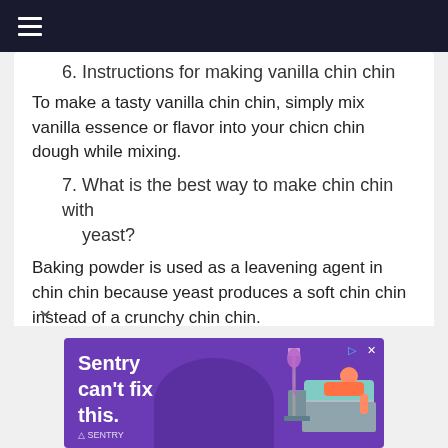≡ (hamburger menu)
6. Instructions for making vanilla chin chin
To make a tasty vanilla chin chin, simply mix vanilla essence or flavor into your chicn chin dough while mixing.
7. What is the best way to make chin chin with yeast?
Baking powder is used as a leavening agent in chin chin because yeast produces a soft chin chin instead of a crunchy chin chin.
[Figure (screenshot): Advertisement banner for Sentry with purple background showing text 'Sentry can't fix this.' with Sentry logo and decorative illustration of a person on a bed.]